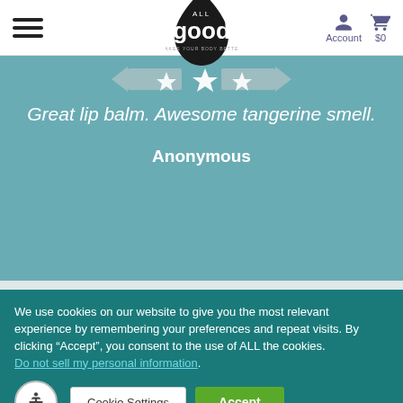All Good — navigation header with hamburger menu, logo, Account and $0 cart
Great lip balm. Awesome tangerine smell.
Anonymous
We use cookies on our website to give you the most relevant experience by remembering your preferences and repeat visits. By clicking “Accept”, you consent to the use of ALL the cookies.
Do not sell my personal information.